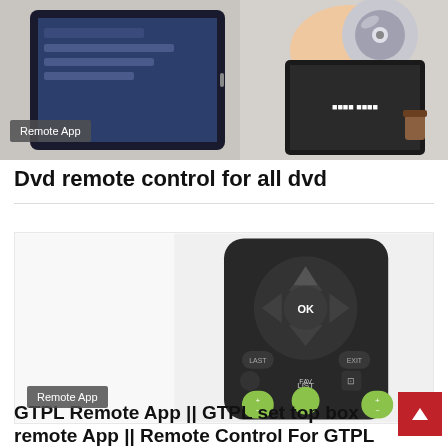[Figure (photo): Top banner image showing a tablet displaying a remote app menu alongside a person holding a DVD and DVD player, with a 'Remote App' badge overlay in the bottom-left corner]
Dvd remote control for all dvd
[Figure (photo): Card image showing a dark remote control with navigation buttons (OK, LAST, EXIT, LIST, FAV) and green accent buttons, with a 'Remote App' badge overlay in the bottom-left corner]
GTPL Remote App || GTPL set top box remote App || Remote Control For GTPL